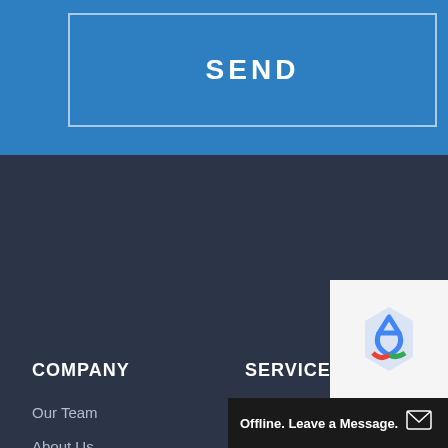SEND
COMPANY
Our Team
About Us
Testimonial
Career
Contact Us
Confidentiality
SERVICES
IoT Development
Mobile App Development
Web Development
Cloud Services
Offline. Leave a Message.